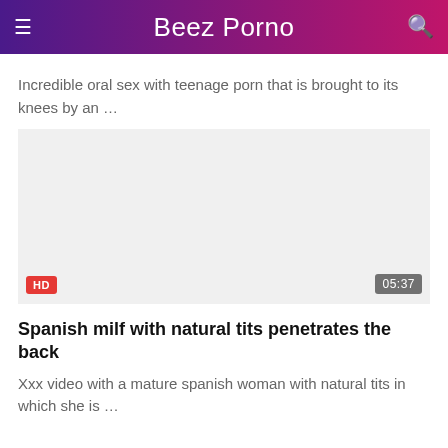Beez Porno
Incredible oral sex with teenage porn that is brought to its knees by an …
[Figure (screenshot): Video thumbnail placeholder, light gray background, with HD badge bottom-left and 05:37 duration badge bottom-right]
Spanish milf with natural tits penetrates the back
Xxx video with a mature spanish woman with natural tits in which she is …